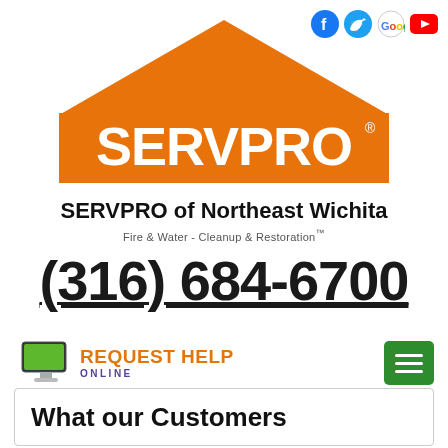[Figure (logo): SERVPRO logo with orange house/roof shape and white SERVPRO text with registered trademark symbol]
[Figure (logo): Social media icons for Facebook, Twitter, Google, and YouTube]
SERVPRO of Northeast Wichita
Fire & Water - Cleanup & Restoration™
(316) 684-6700
[Figure (infographic): Computer monitor icon next to REQUEST HELP ONLINE text in orange and purple, with green hamburger menu button on the right]
What our Customers